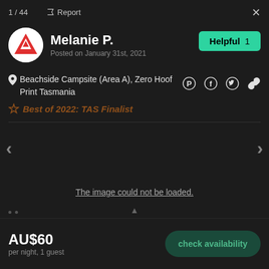1 / 44
Report
Melanie P.
Posted on January 31st, 2021
Helpful  1
Beachside Campsite (Area A), Zero Hoof Print Tasmania
Best of 2022: TAS Finalist
[Figure (screenshot): Failed image load placeholder with text 'The image could not be loaded.']
The image could not be loaded.
AU$60
per night, 1 guest
check availability